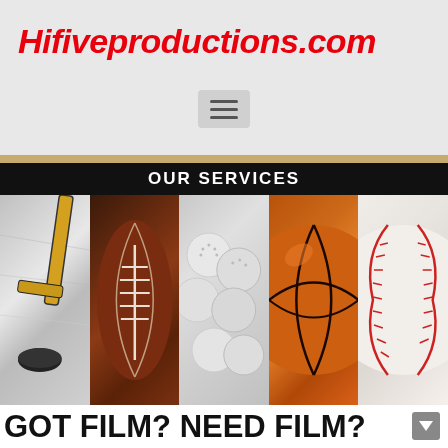Hifiveproductions.com
OUR SERVICES
[Figure (photo): Collage of five sports close-ups: hockey stick with puck on ice, football with laces, golf balls, basketball texture, baseball with red stitching]
GOT FILM? NEED FILM?